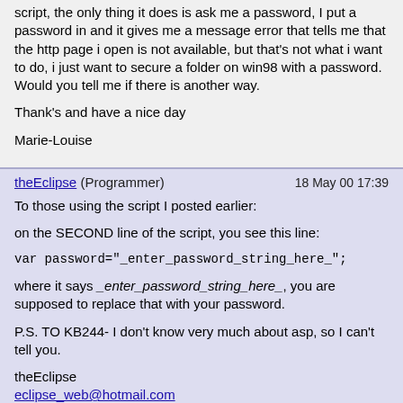script, the only thing it does is ask me a password, I put a password in and it gives me a message error that tells me that the http page i open is not available, but that's not what i want to do, i just want to secure a folder on win98 with a password.
Would you tell me if there is another way.
Thank's and have a nice day
Marie-Louise
theEclipse (Programmer)   18 May 00 17:39
To those using the script I posted earlier:
on the SECOND line of the script, you see this line:
var password="_enter_password_string_here_";
where it says _enter_password_string_here_, you are supposed to replace that with your password.
P.S. TO KB244- I don't know very much about asp, so I can't tell you.
theEclipse
eclipse_web@hotmail.com
robacarp.webjump.com
**-Trying to build a documentation of a Javascript DOM, crossbrowser, of course. E-mail me if you know of any little known events and/or methods, etc.